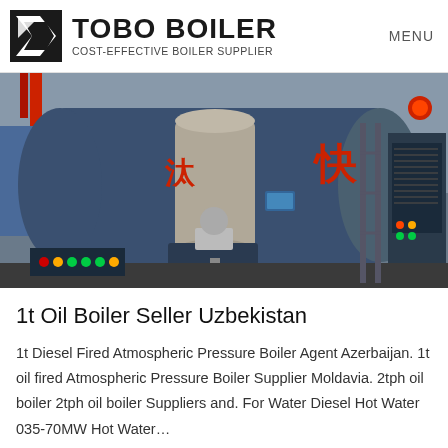TOBO BOILER COST-EFFECTIVE BOILER SUPPLIER | MENU
[Figure (photo): Industrial boiler equipment in a factory setting — large cylindrical blue/grey boiler with Chinese characters, burner assembly, piping, and a control panel on the right side.]
1t Oil Boiler Seller Uzbekistan
1t Diesel Fired Atmospheric Pressure Boiler Agent Azerbaijan. 1t oil fired Atmospheric Pressure Boiler Supplier Moldavia. 2tph oil boiler 2tph oil boiler Suppliers and. For Water Diesel Hot Water 035-70MW Hot Water…